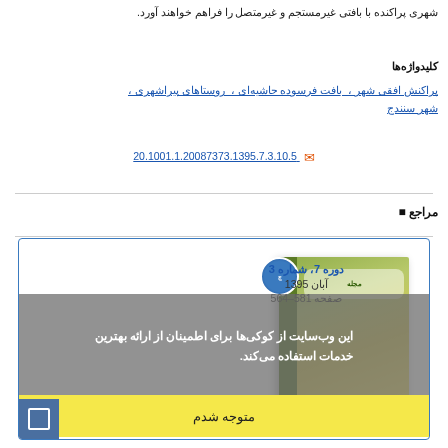شهری پراکنده با بافتی غیرمستجم و غیرمتصل را فراهم خواهند آورد.
کلیدواژه‌ها
پراکنش افقی شهر ، بافت فرسوده حاشیه‌ای ، روستاهای پیراشهری ، شهر سنندج
20.1001.1.20087373.1395.7.3.10.5
مراجع
[Figure (other): Journal article card showing volume 7 issue 3, Aban 1395, pages 581-564, with book cover image and cookie/privacy overlay with 'متوجه شدم' button]